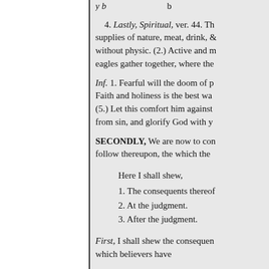4. Lastly, Spiritual, ver. 44. Th[e...] supplies of nature, meat, drink, &[...] without physic. (2.) Active and m[...] eagles gather together, where the[...]
Inf. 1. Fearful will the doom of p[...] Faith and holiness is the best wa[...] (5.) Let this comfort him against[...] from sin, and glorify God with y[...]
SECONDLY, We are now to con[...] follow thereupon, the which the[...]
Here I shall shew,
1. The consequents thereof
2. At the judgment.
3. After the judgment.
First, I shall shew the consequen[...] which believers have
from Christ betwixt the resurrect[...] Now,
1. They shall be gathered toge[...]
By the glorious gospel having its[...]